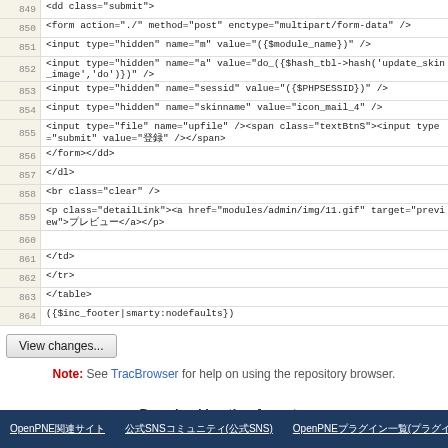[Figure (screenshot): Code viewer showing lines 849-864 of a PHP/HTML template file with line numbers on the left and code on the right]
View changes...
Note: See TracBrowser for help on using the repository browser.
Download in other formats:
Original Format
OpenPNE関連サイト　　　　公式SNSコミュニティ(公式SNS)　　　OpenPNEプラグイン一覧(プラグイン)